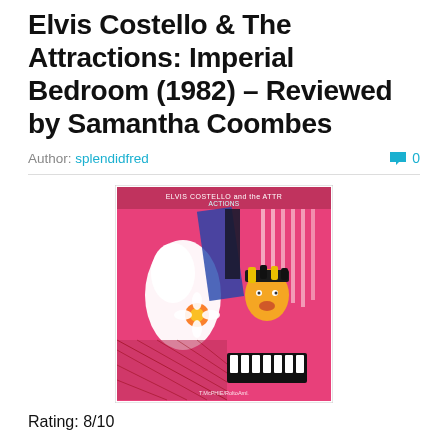Elvis Costello & The Attractions: Imperial Bedroom (1982) – Reviewed by Samantha Coombes
Author: splendidfred   💬 0
[Figure (illustration): Album cover art for Elvis Costello and the Attractions - Imperial Bedroom (1982). Colorful artwork showing abstract figures in pink, blue, white, and black. Text at top reads 'ELVIS COSTELLO and the ATTRACTIONS'. Credit text at bottom.]
Rating: 8/10